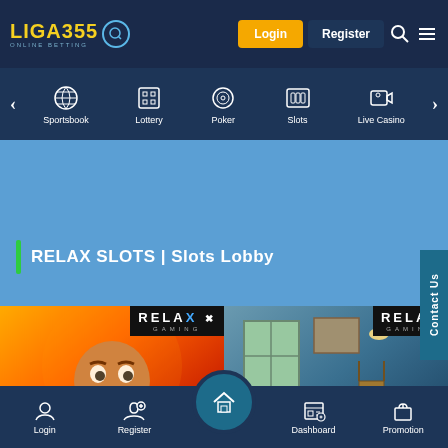LIGA355 | Login | Register
[Figure (screenshot): Navigation menu with Sportsbook, Lottery, Poker, Slots, Live Casino icons]
RELAX SLOTS | Slots Lobby
[Figure (screenshot): Erik the Red slot game thumbnail with Relax Gaming badge]
[Figure (screenshot): Van Gogh slot game thumbnail with Relax Gaming badge]
Login | Register | Dashboard | Promotion